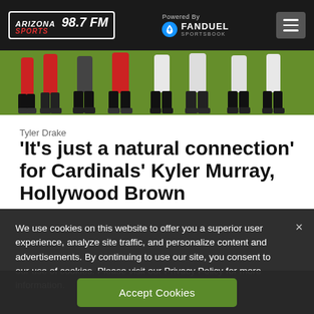Arizona Sports 98.7 FM – Powered By FanDuel Sportsbook
[Figure (photo): Bottom portion of football players on a field, showing legs, cleats, and green turf]
Tyler Drake
'It's just a natural connection' for Cardinals' Kyler Murray, Hollywood Brown
We use cookies on this website to offer you a superior user experience, analyze site traffic, and personalize content and advertisements. By continuing to use our site, you consent to our use of cookies. Please visit our Privacy Policy for more information.
Accept Cookies